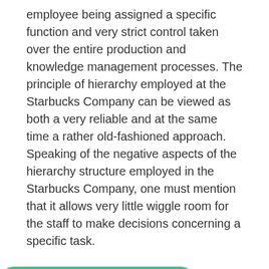employee being assigned a specific function and very strict control taken over the entire production and knowledge management processes. The principle of hierarchy employed at the Starbucks Company can be viewed as both a very reliable and at the same time a rather old-fashioned approach. Speaking of the negative aspects of the hierarchy structure employed in the Starbucks Company, one must mention that it allows very little wiggle room for the staff to make decisions concerning a specific task.
[Figure (infographic): Promotional box with three overlapping avatar photos and a '+703' count badge with green dot, labeled 'Academic experts available', with a green CTA button 'Learn the cost of your essay →' and text 's essay' beside it, and bottom text 'specifically for you for only [strikethrough price] $11/page']